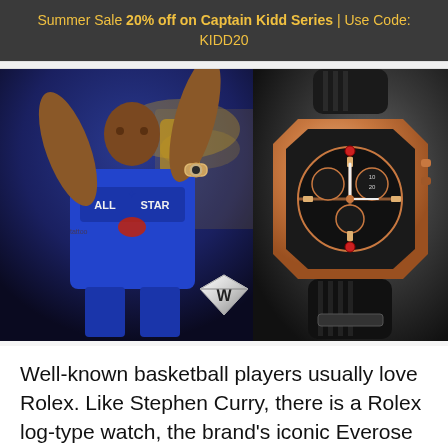Summer Sale 20% off on Captain Kidd Series | Use Code: KIDD20
[Figure (photo): Left half: basketball player in blue 'ALL STAR' jersey with arms raised, wearing a watch on wrist; Right half: luxury rose gold skeleton chronograph watch with black rubber strap on dark background; diamond logo watermark in center bottom]
Well-known basketball players usually love Rolex. Like Stephen Curry, there is a Rolex log-type watch, the brand's iconic Everose gold material, which is more